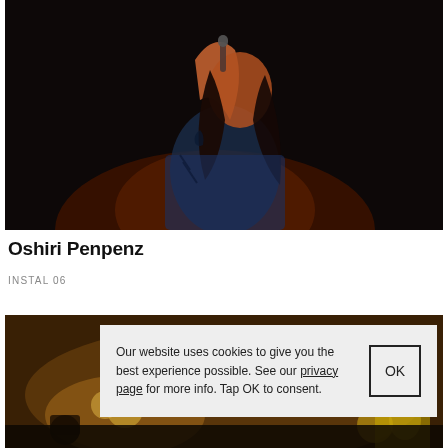[Figure (photo): Dark concert photo of a female singer with long hair performing on stage, lit with warm orange/red lighting from below against a black background]
Oshiri Penpenz
INSTAL 06
[Figure (photo): Partially visible concert/event photo with warm golden tones, showing crowd and instruments]
Our website uses cookies to give you the best experience possible. See our privacy page for more info. Tap OK to consent.